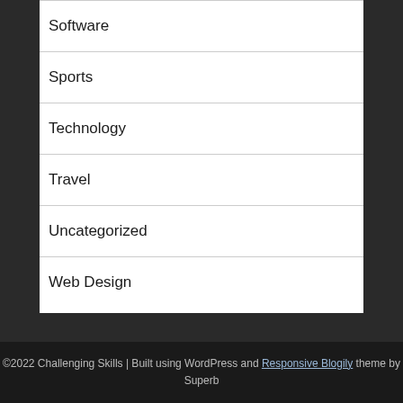Software
Sports
Technology
Travel
Uncategorized
Web Design
©2022 Challenging Skills | Built using WordPress and Responsive Blogily theme by Superb